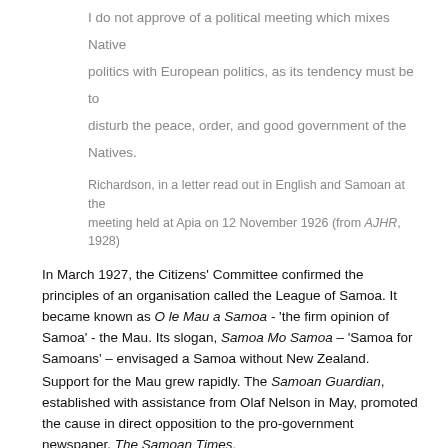I do not approve of a political meeting which mixes Native politics with European politics, as its tendency must be to disturb the peace, order, and good government of the Natives.
Richardson, in a letter read out in English and Samoan at the meeting held at Apia on 12 November 1926 (from AJHR, 1928)
In March 1927, the Citizens' Committee confirmed the principles of an organisation called the League of Samoa. It became known as O le Mau a Samoa - 'the firm opinion of Samoa' - the Mau. Its slogan, Samoa Mo Samoa – 'Samoa for Samoans' – envisaged a Samoa without New Zealand.
Support for the Mau grew rapidly. The Samoan Guardian, established with assistance from Olaf Nelson in May, promoted the cause in direct opposition to the pro-government newspaper, The Samoan Times.